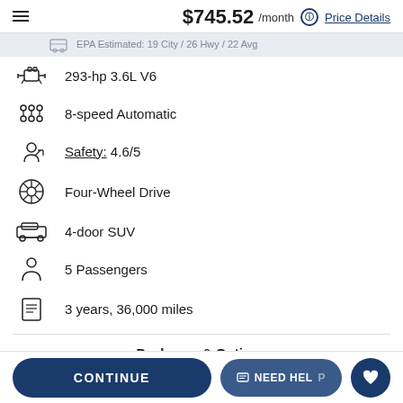$745.52 /month ⓘ Price Details
EPA Estimated: 19 City / 26 Hwy / 22 Avg
293-hp 3.6L V6
8-speed Automatic
Safety: 4.6/5
Four-Wheel Drive
4-door SUV
5 Passengers
3 years, 36,000 miles
Packages & Options
UConnect 5 Nav w/10.1" Display
CONTINUE   NEED HELP